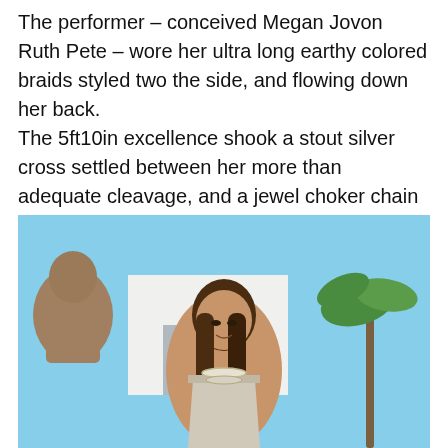The performer – conceived Megan Jovon Ruth Pete – wore her ultra long earthy colored braids styled two the side, and flowing down her back. The 5ft10in excellence shook a stout silver cross settled between her more than adequate cleavage, and a jewel choker chain around her neck.
[Figure (photo): Photo of a young woman with long straight brown hair wearing a patterned halter top and silver/pearl chain jewelry, standing outdoors with a blue sky, white building, and palm tree in the background. A stone statue is partially visible on the left.]